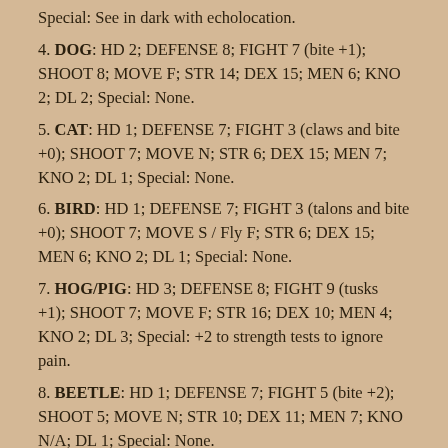Special: See in dark with echolocation.
4. DOG: HD 2; DEFENSE 8; FIGHT 7 (bite +1); SHOOT 8; MOVE F; STR 14; DEX 15; MEN 6; KNO 2; DL 2; Special: None.
5. CAT: HD 1; DEFENSE 7; FIGHT 3 (claws and bite +0); SHOOT 7; MOVE N; STR 6; DEX 15; MEN 7; KNO 2; DL 1; Special: None.
6. BIRD: HD 1; DEFENSE 7; FIGHT 3 (talons and bite +0); SHOOT 7; MOVE S / Fly F; STR 6; DEX 15; MEN 6; KNO 2; DL 1; Special: None.
7. HOG/PIG: HD 3; DEFENSE 8; FIGHT 9 (tusks +1); SHOOT 7; MOVE F; STR 16; DEX 10; MEN 4; KNO 2; DL 3; Special: +2 to strength tests to ignore pain.
8. BEETLE: HD 1; DEFENSE 7; FIGHT 5 (bite +2); SHOOT 5; MOVE N; STR 10; DEX 11; MEN 7; KNO N/A; DL 1; Special: None.
9. LION/TIGER: HD 6; DEFENSE 13; FIGHT 16 (claws